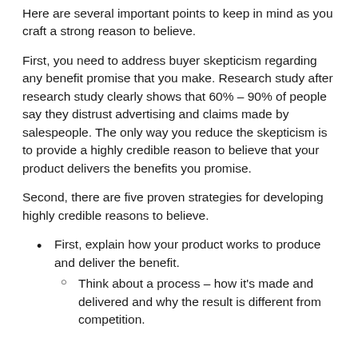Here are several important points to keep in mind as you craft a strong reason to believe.
First, you need to address buyer skepticism regarding any benefit promise that you make. Research study after research study clearly shows that 60% – 90% of people say they distrust advertising and claims made by salespeople. The only way you reduce the skepticism is to provide a highly credible reason to believe that your product delivers the benefits you promise.
Second, there are five proven strategies for developing highly credible reasons to believe.
First, explain how your product works to produce and deliver the benefit.
Think about a process – how it's made and delivered and why the result is different from competition.